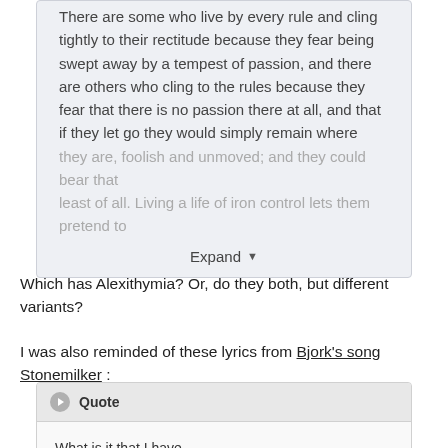There are some who live by every rule and cling tightly to their rectitude because they fear being swept away by a tempest of passion, and there are others who cling to the rules because they fear that there is no passion there at all, and that if they let go they would simply remain where they are, foolish and unmoved; and they could bear that least of all. Living a life of iron control lets them pretend to
Expand
Which has Alexithymia? Or, do they both, but different variants?
I was also reminded of these lyrics from Bjork's song Stonemilker :
Quote
What is it that I have
That makes me feel your pain
Like milking a stone
To get you to say it